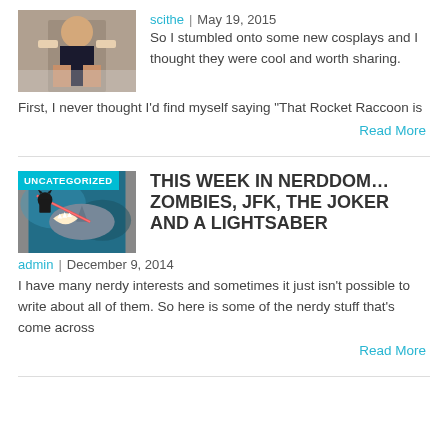[Figure (photo): Thumbnail of a cosplay photo, person in costume on stairs]
scithe | May 19, 2015
So I stumbled onto some new cosplays and I thought they were cool and worth sharing. First, I never thought I'd find myself saying "That Rocket Raccoon is
Read More
[Figure (photo): Thumbnail image with UNCATEGORIZED badge showing Batman fighting a shark underwater with a lightsaber]
THIS WEEK IN NERDDOM… ZOMBIES, JFK, THE JOKER AND A LIGHTSABER
admin | December 9, 2014
I have many nerdy interests and sometimes it just isn't possible to write about all of them. So here is some of the nerdy stuff that's come across
Read More